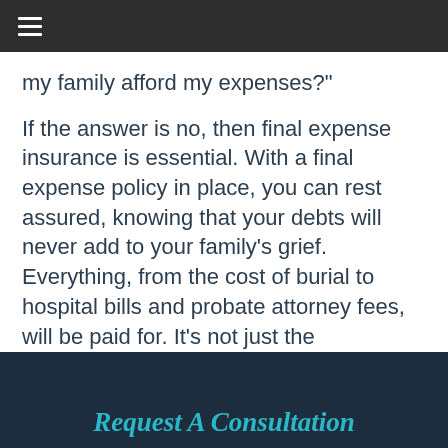≡
my family afford my expenses?"
If the answer is no, then final expense insurance is essential. With a final expense policy in place, you can rest assured, knowing that your debts will never add to your family's grief. Everything, from the cost of burial to hospital bills and probate attorney fees, will be paid for. It's not just the responsible thing to do, but it's a final gift to your loved ones in their time of need.
Request A Consultation